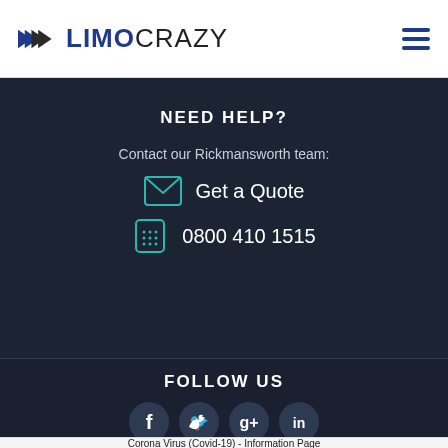[Figure (logo): LimoCrazy logo with double-chevron arrows icon in black/dark and LIMO in bold blue, CRAZY in dark grey]
NEED HELP?
Contact our Rickmansworth team:
Get a Quote
0800 410 1515
FOLLOW US
[Figure (infographic): Four circular social media icons: Facebook, Twitter, Google+, LinkedIn]
Corona Virus (Covid-19) - Information Page